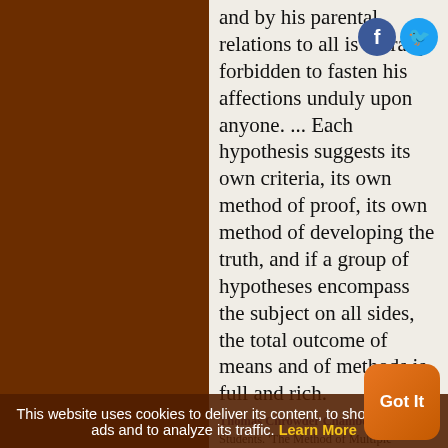and by his parental relations to all is morally forbidden to fasten his affections unduly upon anyone. ... Each hypothesis suggests its own criteria, its own method of proof, its own method of developing the truth, and if a group of hypotheses encompass the subject on all sides, the total outcome of means and of methods is full and rich.
Thomas Chrowder Chamberlin, for Students. 'The Method of Multiple Working Hypotheses', Journal of Geology (1897), 5, 840-6. ... Affections
This website uses cookies to deliver its content, to show relevant ads and to analyze its traffic. Learn More